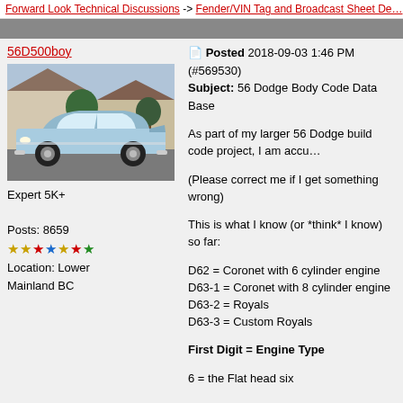Forward Look Technical Discussions -> Fender/VIN Tag and Broadcast Sheet De…
56D500boy
[Figure (photo): Photo of a light blue vintage 1956 Dodge car parked in a driveway]
Expert 5K+
Posts: 8659
★★★★★★★
Location: Lower Mainland BC
Posted 2018-09-03 1:46 PM (#569530)
Subject: 56 Dodge Body Code Data Base
As part of my larger 56 Dodge build code project, I am accu…

(Please correct me if I get something wrong)

This is what I know (or *think* I know) so far:

D62 = Coronet with 6 cylinder engine
D63-1 = Coronet with 8 cylinder engine
D63-2 = Royals
D63-3 = Custom Royals

First Digit = Engine Type

6 = the Flat head six

8 = V8

Second Digit = trim line

1 = Coronet as in D62 or D63-1
2 = Royal as in D63-2
3= Custom Royal as in D63-3

Third Digit = actual body type:

2 = 2 dr sedan
3 = 2dr convertible